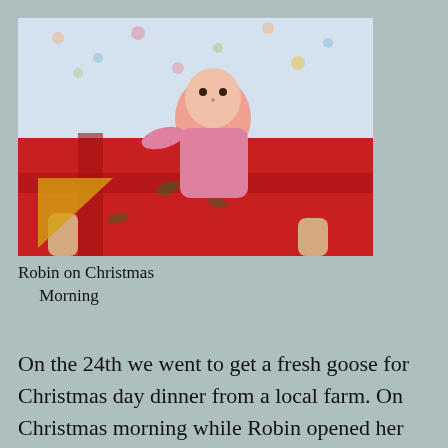[Figure (photo): Baby (Robin) in pink clothing sitting with a large red Christmas gift being opened, with patterned background fabric visible.]
Robin on Christmas Morning
On the 24th we went to get a fresh goose for Christmas day dinner from a local farm. On Christmas morning while Robin opened her second package (with a lot of help from Mama) and enjoyed looking at her new book about farm animals, the grown up’s started discussing about...